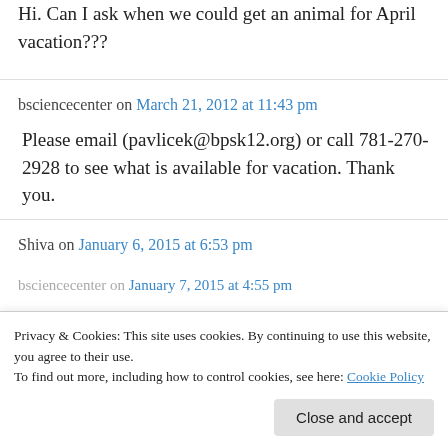Hi. Can I ask when we could get an animal for April vacation???
bsciencecenter on March 21, 2012 at 11:43 pm
Please email (pavlicek@bpsk12.org) or call 781-270-2928 to see what is available for vacation. Thank you.
Shiva on January 6, 2015 at 6:53 pm
Privacy & Cookies: This site uses cookies. By continuing to use this website, you agree to their use. To find out more, including how to control cookies, see here: Cookie Policy
Close and accept
bsciencecenter on January 7, 2015 at 4:55 pm